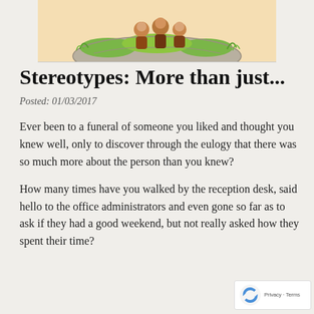[Figure (illustration): Partially visible cropped illustration at the top of the page showing cartoon characters sitting on a rock surrounded by green grass, with a warm beige background. Only the bottom portion of the image is visible.]
Stereotypes: More than just...
Posted: 01/03/2017
Ever been to a funeral of someone you liked and thought you knew well, only to discover through the eulogy that there was so much more about the person than you knew?
How many times have you walked by the reception desk, said hello to the office administrators and even gone so far as to ask if they had a good weekend, but not really asked how they spent their time?